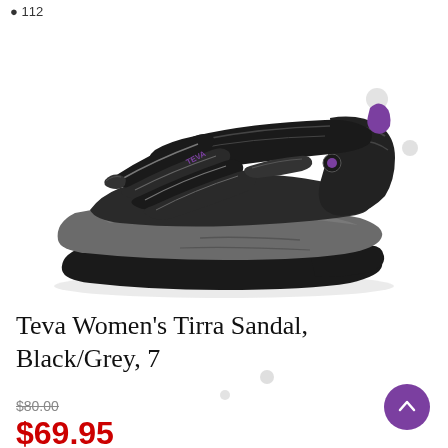112
[Figure (photo): A Teva Women's Tirra Sandal in Black/Grey colorway, side profile view, showing multiple velcro straps across the toe area, a rear ankle strap with purple accent, gray midsole, and black rubber outsole.]
Teva Women's Tirra Sandal, Black/Grey, 7
$80.00
$69.95